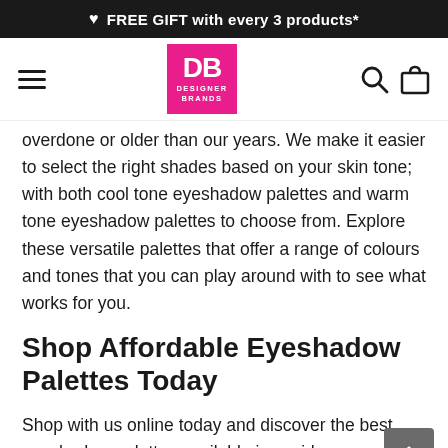♥ FREE GIFT with every 3 products*
[Figure (logo): Designer Brands (DB) logo in pink square with navigation bar including hamburger menu, search icon, and shopping bag icon]
overdone or older than our years. We make it easier to select the right shades based on your skin tone; with both cool tone eyeshadow palettes and warm tone eyeshadow palettes to choose from. Explore these versatile palettes that offer a range of colours and tones that you can play around with to see what works for you.
Shop Affordable Eyeshadow Palettes Today
Shop with us online today and discover the best eyeshadow palettes available in a wide range